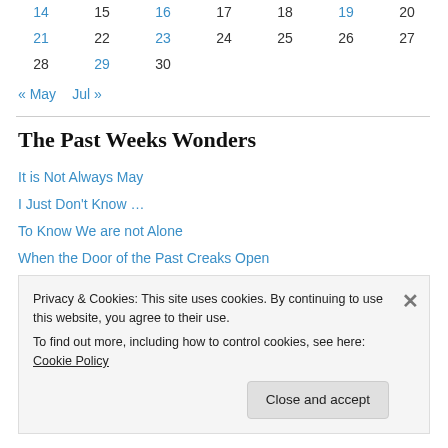| 14 | 15 | 16 | 17 | 18 | 19 | 20 |
| 21 | 22 | 23 | 24 | 25 | 26 | 27 |
| 28 | 29 | 30 |  |  |  |  |
« May   Jul »
The Past Weeks Wonders
It is Not Always May
I Just Don't Know …
To Know We are not Alone
When the Door of the Past Creaks Open
Live and Breathe and Move
Privacy & Cookies: This site uses cookies. By continuing to use this website, you agree to their use. To find out more, including how to control cookies, see here: Cookie Policy
Close and accept